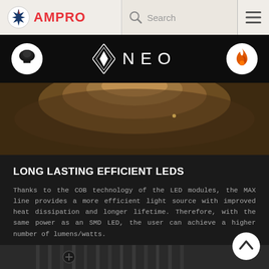AMPRO | Search
[Figure (logo): AMPRO logo with star icon and NEO product logo with diamond/arrow icon, navigation header band]
[Figure (photo): Close-up photo of an LED light module with amber/warm tones showing COB LED technology]
LONG LASTING EFFICIENT LEDs
Thanks to the COB technology of the LED modules, the MAX line provides a more efficient light source with improved heat dissipation and longer lifetime. Therefore, with the same power as an SMD LED, the user can achieve a higher number of lumens/watts.
[Figure (photo): Close-up bottom photo of LED fixture showing screws and heat sink fins in dark grey tones]